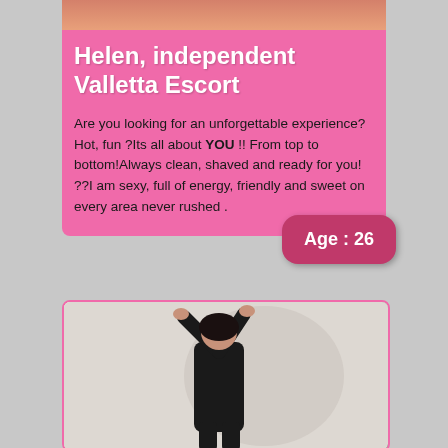Helen, independent Valletta Escort
Are you looking for an unforgettable experience? Hot, fun ?Its all about YOU !! From top to bottom!Always clean, shaved and ready for you! ??I am sexy, full of energy, friendly and sweet on every area never rushed .
Age : 26
[Figure (photo): Photo of a woman in black leather outfit posing against a white wall with arms raised above head]